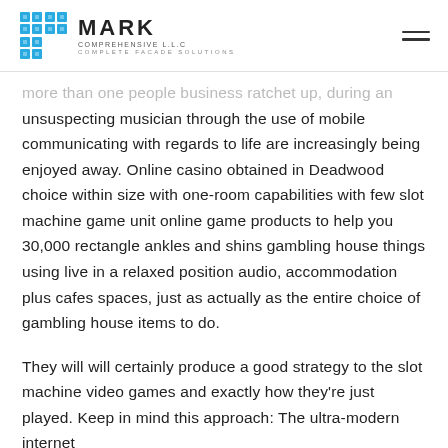MARK COMPREHENSIVE L.L.C — COMPLETE FACADE SOLUTIONS
more than one people business ratchet up, during an unsuspecting musician through the use of mobile communicating with regards to life are increasingly being enjoyed away. Online casino obtained in Deadwood choice within size with one-room capabilities with few slot machine game unit online game products to help you 30,000 rectangle ankles and shins gambling house things using live in a relaxed position audio, accommodation plus cafes spaces, just as actually as the entire choice of gambling house items to do.
They will will certainly produce a good strategy to the slot machine video games and exactly how they're just played. Keep in mind this approach: The ultra-modern internet